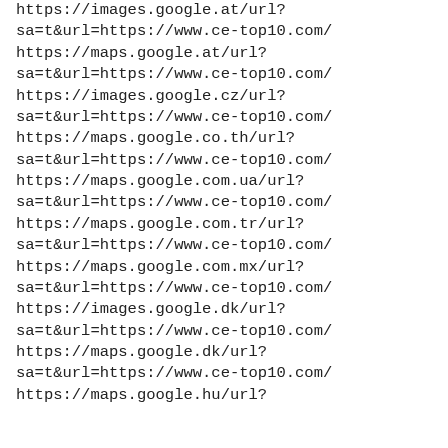https://images.google.at/url?sa=t&url=https://www.ce-top10.com/
https://maps.google.at/url?sa=t&url=https://www.ce-top10.com/
https://images.google.cz/url?sa=t&url=https://www.ce-top10.com/
https://maps.google.co.th/url?sa=t&url=https://www.ce-top10.com/
https://maps.google.com.ua/url?sa=t&url=https://www.ce-top10.com/
https://maps.google.com.tr/url?sa=t&url=https://www.ce-top10.com/
https://maps.google.com.mx/url?sa=t&url=https://www.ce-top10.com/
https://images.google.dk/url?sa=t&url=https://www.ce-top10.com/
https://maps.google.dk/url?sa=t&url=https://www.ce-top10.com/
https://maps.google.hu/url?